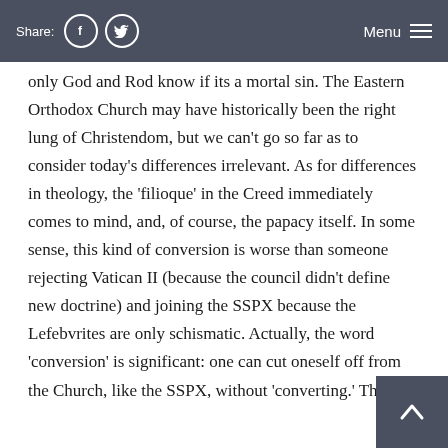Share: [Facebook] [Twitter]   Menu
only God and Rod know if its a mortal sin. The Eastern Orthodox Church may have historically been the right lung of Christendom, but we can't go so far as to consider today's differences irrelevant. As for differences in theology, the 'filioque' in the Creed immediately comes to mind, and, of course, the papacy itself. In some sense, this kind of conversion is worse than someone rejecting Vatican II (because the council didn't define new doctrine) and joining the SSPX because the Lefebvrites are only schismatic. Actually, the word 'conversion' is significant: one can cut oneself off from the Church, like the SSPX, without 'converting.' The